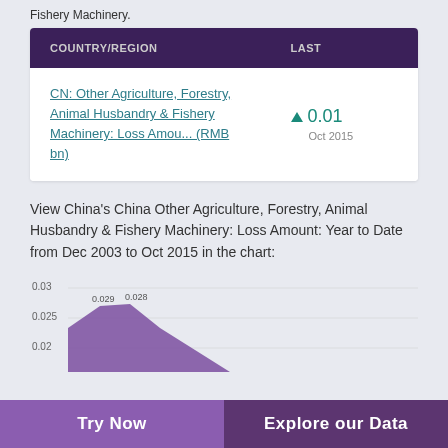Fishery Machinery.
| COUNTRY/REGION | LAST |
| --- | --- |
| CN: Other Agriculture, Forestry, Animal Husbandry & Fishery Machinery: Loss Amou... (RMB bn) | ▲ 0.01  Oct 2015 |
View China's China Other Agriculture, Forestry, Animal Husbandry & Fishery Machinery: Loss Amount: Year to Date from Dec 2003 to Oct 2015 in the chart:
[Figure (area-chart): Area chart showing data values around 0.020-0.028 range, partial view with y-axis labels 0.03, 0.025, 0.02]
Try Now    Explore our Data